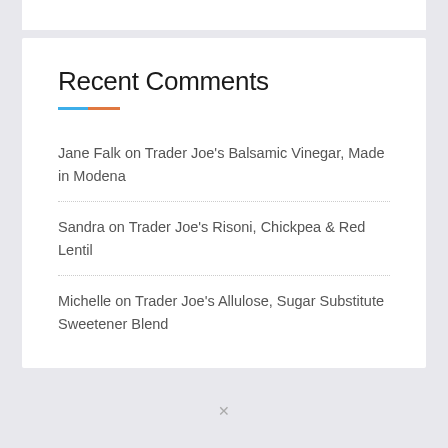Recent Comments
Jane Falk on Trader Joe’s Balsamic Vinegar, Made in Modena
Sandra on Trader Joe's Risoni, Chickpea & Red Lentil
Michelle on Trader Joe’s Allulose, Sugar Substitute Sweetener Blend